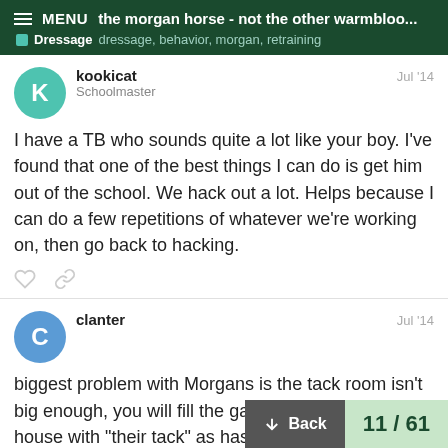the morgan horse - not the other warmbloo... | Dressage | dressage, behavior, morgan, retraining
kookicat
Schoolmaster
Jul '14
I have a TB who sounds quite a lot like your boy. I've found that one of the best things I can do is get him out of the school. We hack out a lot. Helps because I can do a few repetitions of whatever we're working on, then go back to hacking.
clanter
Jul '14
biggest problem with Morgans is the tack room isn't big enough, you will fill the garage and most of the house with "their tack" as has been said they are a do it all horse… you n… age saddle, a hunt saddle, a western show sa… western saddle, an endurance/competitive
Back
11 / 61